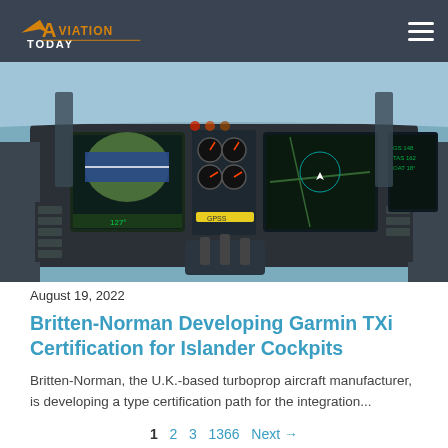Aviation Today
[Figure (photo): Cockpit interior of a Britten-Norman Islander aircraft fitted with Garmin TXi avionics displays, showing multiple touchscreen flight displays mounted on the instrument panel.]
August 19, 2022
Britten-Norman Developing Garmin TXi Certification for Islander Cockpits
Britten-Norman, the U.K.-based turboprop aircraft manufacturer, is developing a type certification path for the integration...
1  2  3  1366  Next →